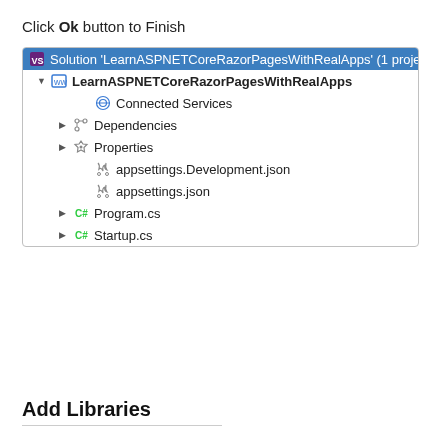Click Ok button to Finish
[Figure (screenshot): Visual Studio Solution Explorer showing 'Solution LearnASPNETCoreRazorPagesWithRealApps (1 project)' with project tree including: LearnASPNETCoreRazorPagesWithRealApps, Connected Services, Dependencies, Properties, appsettings.Development.json, appsettings.json, Program.cs, Startup.cs]
Add Libraries